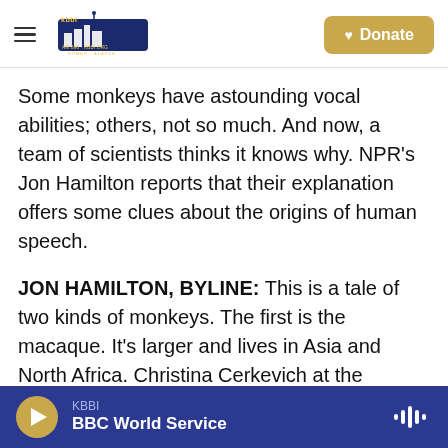KBBI AM 890 · KBBI.ORG HOMER ALASKA | Donate
Some monkeys have astounding vocal abilities; others, not so much. And now, a team of scientists thinks it knows why. NPR's Jon Hamilton reports that their explanation offers some clues about the origins of human speech.
JON HAMILTON, BYLINE: This is a tale of two kinds of monkeys. The first is the macaque. It's larger and lives in Asia and North Africa. Christina Cerkevich at the University of Pittsburgh says when it comes to vocalizing, macaques are kind of limited.
KBBI | BBC World Service